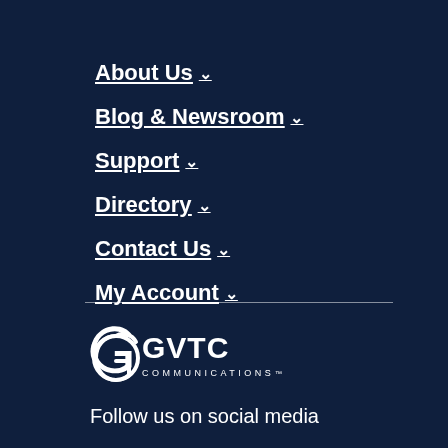About Us ˅
Blog & Newsroom ˅
Support ˅
Directory ˅
Contact Us ˅
My Account ˅
[Figure (logo): GVTC Communications logo in white on dark navy background]
Follow us on social media